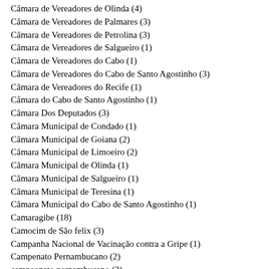Câmara de Vereadores de Olinda (4)
Câmara de Vereadores de Palmares (3)
Câmara de Vereadores de Petrolina (3)
Câmara de Vereadores de Salgueiro (1)
Câmara de Vereadores do Cabo (1)
Câmara de Vereadores do Cabo de Santo Agostinho (3)
Câmara de Vereadores do Recife (1)
Câmara do Cabo de Santo Agostinho (1)
Câmara Dos Deputados (3)
Câmara Municipal de Condado (1)
Câmara Municipal de Goiana (2)
Câmara Municipal de Limoeiro (2)
Câmara Municipal de Olinda (1)
Câmara Municipal de Salgueiro (1)
Câmara Municipal de Teresina (1)
Câmara Municipal do Cabo de Santo Agostinho (1)
Camaragibe (18)
Camocim de São felix (3)
Campanha Nacional de Vacinação contra a Gripe (1)
Campenato Pernambucano (2)
campeonato pernambucano (3)
Campina Grande (6)